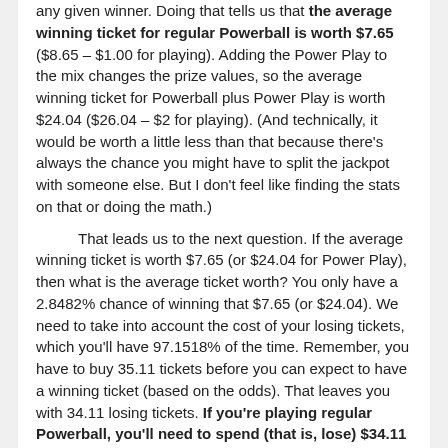any given winner. Doing that tells us that the average winning ticket for regular Powerball is worth $7.65 ($8.65 – $1.00 for playing). Adding the Power Play to the mix changes the prize values, so the average winning ticket for Powerball plus Power Play is worth $24.04 ($26.04 – $2 for playing). (And technically, it would be worth a little less than that because there's always the chance you might have to split the jackpot with someone else. But I don't feel like finding the stats on that or doing the math.)
That leads us to the next question. If the average winning ticket is worth $7.65 (or $24.04 for Power Play), then what is the average ticket worth? You only have a 2.8482% chance of winning that $7.65 (or $24.04). We need to take into account the cost of your losing tickets, which you'll have 97.1518% of the time. Remember, you have to buy 35.11 tickets before you can expect to have a winning ticket (based on the odds). That leaves you with 34.11 losing tickets. If you're playing regular Powerball, you'll need to spend (that is, lose) $34.11 to win $7.65. If you're playing Powerball with Power Play, you're looking at a cost of $68.22 to win $24.04.
Our last bit of math will tell us the average value of any given ticket. Let's check regular Powerball first. On average, you'll spend $34.11 to win $7.65 leaving you with an overall